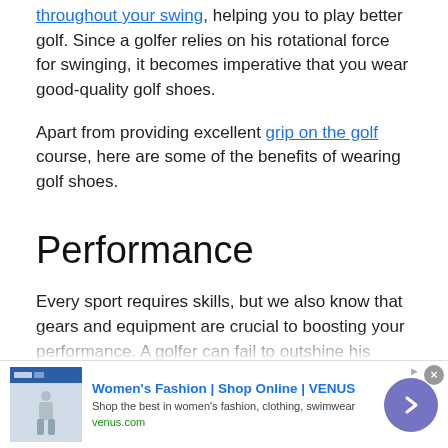throughout your swing, helping you to play better golf. Since a golfer relies on his rotational force for swinging, it becomes imperative that you wear good-quality golf shoes.
Apart from providing excellent grip on the golf course, here are some of the benefits of wearing golf shoes.
Performance
Every sport requires skills, but we also know that gears and equipment are crucial to boosting your performance. A golfer can fail to outshine his competitors if he falls or slips during a downswing.
[Figure (other): Advertisement banner: Women's Fashion | Shop Online | VENUS. Shop the best in women's fashion, clothing, swimwear. venus.com. Shows a fashion website thumbnail with a woman in activewear, a close button, and a purple arrow button.]